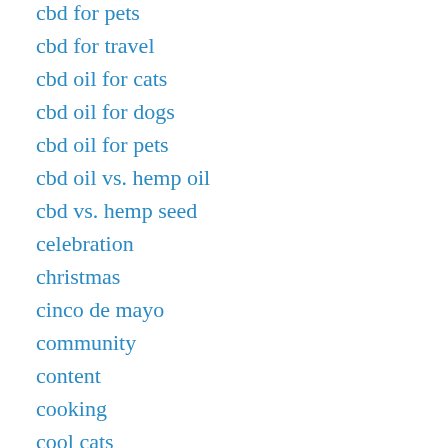cbd for pets
cbd for travel
cbd oil for cats
cbd oil for dogs
cbd oil for pets
cbd oil vs. hemp oil
cbd vs. hemp seed
celebration
christmas
cinco de mayo
community
content
cooking
cool cats